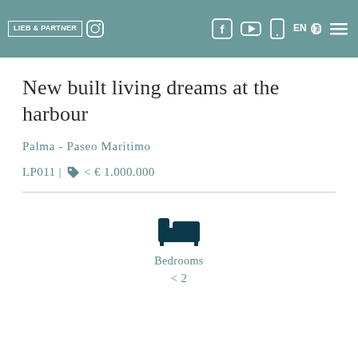Lieb & Partner Real Estate — header navigation bar with logo and social media icons
New built living dreams at the harbour
Palma - Paseo Maritimo
LP011 | < € 1.000.000
[Figure (illustration): Bed/bedroom icon in dark teal]
Bedrooms
< 2